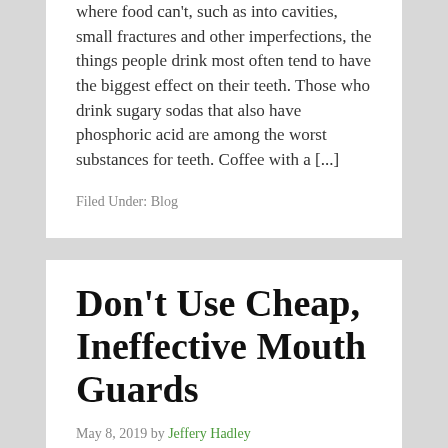where food can't, such as into cavities, small fractures and other imperfections, the things people drink most often tend to have the biggest effect on their teeth. Those who drink sugary sodas that also have phosphoric acid are among the worst substances for teeth. Coffee with a [...]
Filed Under: Blog
Don't Use Cheap, Ineffective Mouth Guards
May 8, 2019 by Jeffery Hadley
[Figure (photo): Broken image placeholder with alt text: Don't Use Cheap, Ineffective Mouth Guards]